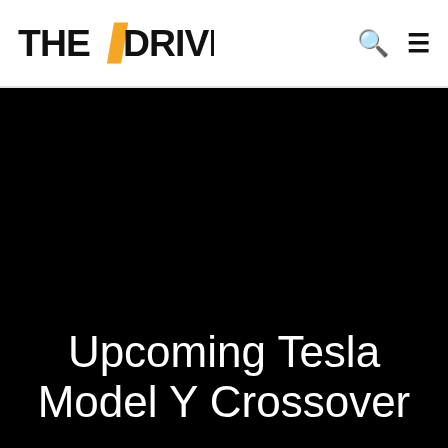THE / DRIVE
[Figure (photo): Dark/black hero image background for article about Tesla Model Y Crossover]
Upcoming Tesla Model Y Crossover